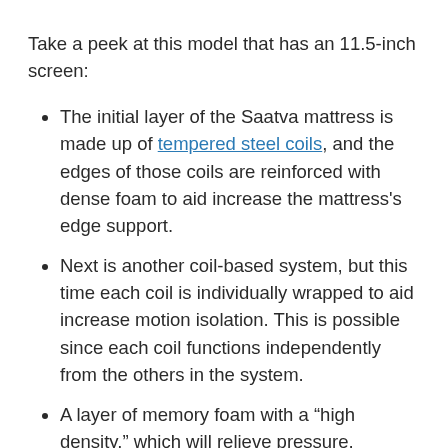Take a peek at this model that has an 11.5-inch screen:
The initial layer of the Saatva mattress is made up of tempered steel coils, and the edges of those coils are reinforced with dense foam to aid increase the mattress's edge support.
Next is another coil-based system, but this time each coil is individually wrapped to aid increase motion isolation. This is possible since each coil functions independently from the others in the system.
A layer of memory foam with a “high density,” which will relieve pressure, increase comfort, and help to